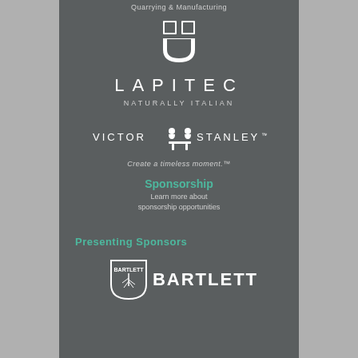Quarrying & Manufacturing
[Figure (logo): Lapitec shield/crest logo in white]
LAPITEC
NATURALLY ITALIAN
[Figure (logo): Victor Stanley logo with icon of people and bench]
Create a timeless moment.™
Sponsorship
Learn more about sponsorship opportunities
Presenting Sponsors
[Figure (logo): Bartlett logo shield with tree and text BARTLETT]